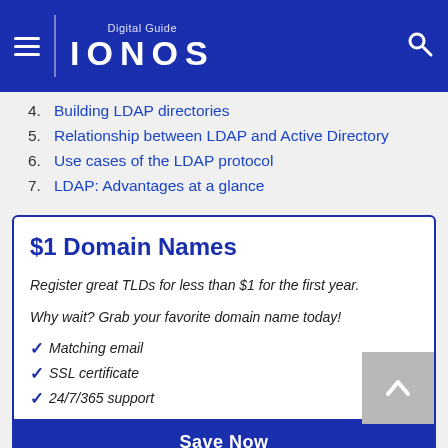Digital Guide IONOS
4. Building LDAP directories
5. Relationship between LDAP and Active Directory
6. Use cases of the LDAP protocol
7. LDAP: Advantages at a glance
$1 Domain Names
Register great TLDs for less than $1 for the first year.
Why wait? Grab your favorite domain name today!
Matching email
SSL certificate
24/7/365 support
Save Now